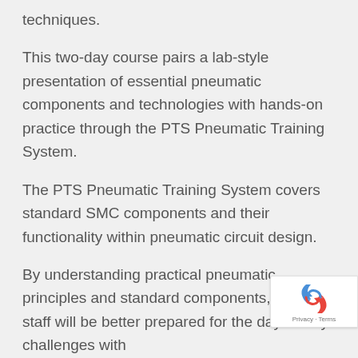techniques.
This two-day course pairs a lab-style presentation of essential pneumatic components and technologies with hands-on practice through the PTS Pneumatic Training System.
The PTS Pneumatic Training System covers standard SMC components and their functionality within pneumatic circuit design.
By understanding practical pneumatic principles and standard components, your staff will be better prepared for the day-to-day challenges with pneumatics throughout your facility.